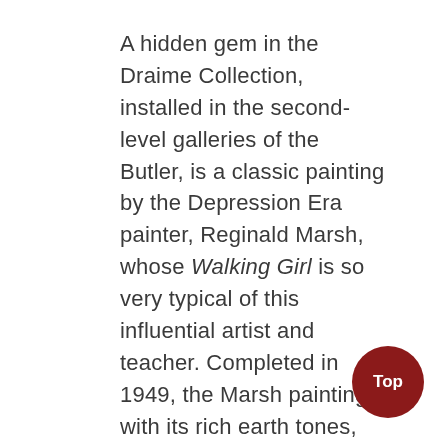A hidden gem in the Draime Collection, installed in the second-level galleries of the Butler, is a classic painting by the Depression Era painter, Reginald Marsh, whose Walking Girl is so very typical of this influential artist and teacher. Completed in 1949, the Marsh painting, with its rich earth tones, offers a wonderful view of a favorite subject of so many artists of the period, the female form in motion.
[Figure (other): A dark red circular button labeled 'Top' in white bold text, positioned in the bottom-right area of the page.]